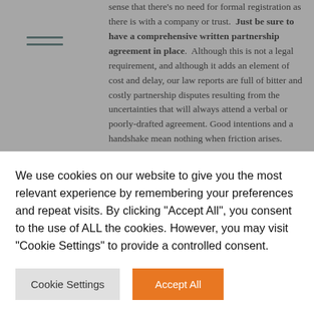sense that there's no need for formal registration as there is with a company or trust. Just be sure to have a comprehensive written partnership agreement in place. Although this is not a legal requirement, and although it adds an element of cost and delay, our law reports are full of bitter and costly partnership disputes resulting from the uncertainties that will always attend a verbal or poorly-drafted agreement. Good intentions and a handshake mean nothing when friction arises.
2. You have no statutory audit requirements and your administrative burden is low compared to, for example, running a company.
3. You are taxed at personal rates which can sometimes (not...
We use cookies on our website to give you the most relevant experience by remembering your preferences and repeat visits. By clicking "Accept All", you consent to the use of ALL the cookies. However, you may visit "Cookie Settings" to provide a controlled consent.